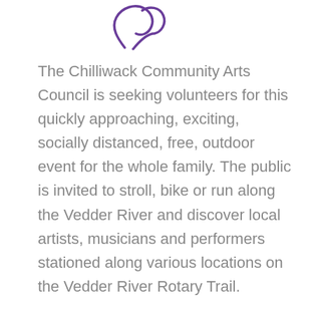[Figure (logo): Partial view of a purple swirl/hand logo for the Chilliwack Community Arts Council]
The Chilliwack Community Arts Council is seeking volunteers for this quickly approaching, exciting, socially distanced, free, outdoor event for the whole family. The public is invited to stroll, bike or run along the Vedder River and discover local artists, musicians and performers stationed along various locations on the Vedder River Rotary Trail.